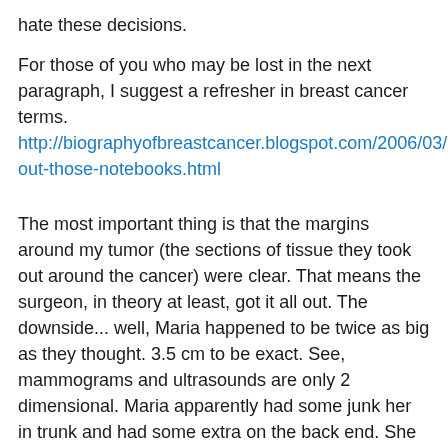hate these decisions.
For those of you who may be lost in the next paragraph, I suggest a refresher in breast cancer terms. http://biographyofbreastcancer.blogspot.com/2006/03/get-out-those-notebooks.html
The most important thing is that the margins around my tumor (the sections of tissue they took out around the cancer) were clear. That means the surgeon, in theory at least, got it all out. The downside... well, Maria happened to be twice as big as they thought. 3.5 cm to be exact. See, mammograms and ultrasounds are only 2 dimensional. Maria apparently had some junk her in trunk and had some extra on the back end. She is latina, after all. (My tumor is just like J-Lo). So that sucks. Another shitty thing- my lymph nodes. They took out 6. Everyone has a different amount of these suckers- I have a bunch. They took out the first level of nodes in my surgery. That's why I had the radioactive mapping- to find them. While I was on the tiny table, a pathologist tested them and they were all negative. I was told